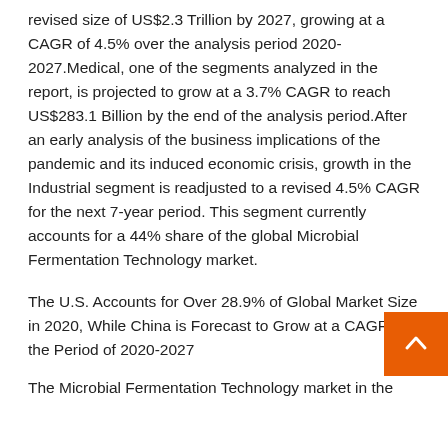revised size of US$2.3 Trillion by 2027, growing at a CAGR of 4.5% over the analysis period 2020-2027.Medical, one of the segments analyzed in the report, is projected to grow at a 3.7% CAGR to reach US$283.1 Billion by the end of the analysis period.After an early analysis of the business implications of the pandemic and its induced economic crisis, growth in the Industrial segment is readjusted to a revised 4.5% CAGR for the next 7-year period. This segment currently accounts for a 44% share of the global Microbial Fermentation Technology market.
The U.S. Accounts for Over 28.9% of Global Market Size in 2020, While China is Forecast to Grow at a CAGR for the Period of 2020-2027
The Microbial Fermentation Technology market in the